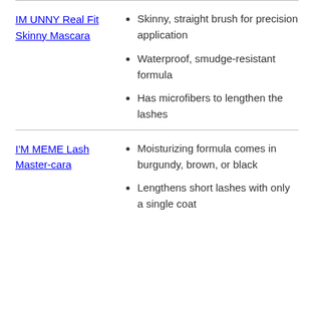IM UNNY Real Fit Skinny Mascara
Skinny, straight brush for precision application
Waterproof, smudge-resistant formula
Has microfibers to lengthen the lashes
I'M MEME Lash Master-cara
Moisturizing formula comes in burgundy, brown, or black
Lengthens short lashes with only a single coat